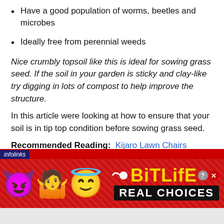Have a good population of worms, beetles and microbes
Ideally free from perennial weeds
Nice crumbly topsoil like this is ideal for sowing grass seed. If the soil in your garden is sticky and clay-like try digging in lots of compost to help improve the structure.
In this article were looking at how to ensure that your soil is in tip top condition before sowing grass seed.
Recommended Reading: Kijaro Lawn Chairs
[Figure (screenshot): Advertisement banner for BitLife game showing emojis (devil, person shrugging, angel) and 'BitLife REAL CHOICES' text on red background with infolinks branding]